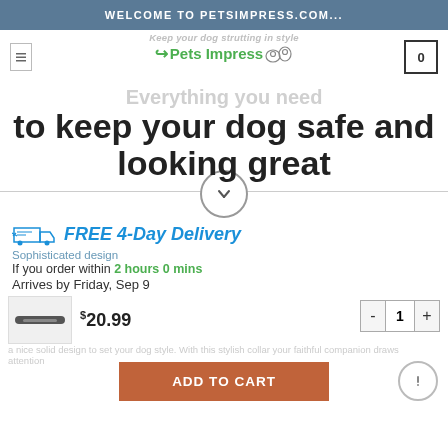WELCOME TO PETSIMPRESS.COM...
[Figure (logo): Pets Impress logo with green arrow and pet icons, tagline 'Keep your dog strutting in style']
Everything you need to keep your dog safe and looking great
[Figure (other): Circular scroll-down button with checkmark/arrow icon]
[Figure (other): Blue delivery truck icon with FREE 4-Day Delivery text]
If you order within 2 hours 0 mins
Arrives by Friday, Sep 9
[Figure (photo): Product thumbnail image of a dog collar]
$20.99
ADD TO CART